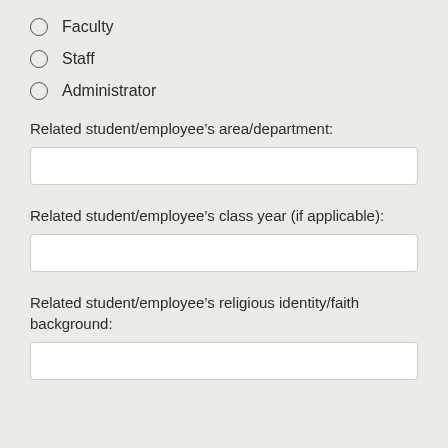Faculty
Staff
Administrator
Related student/employee's area/department:
Related student/employee's class year (if applicable):
Related student/employee's religious identity/faith background: